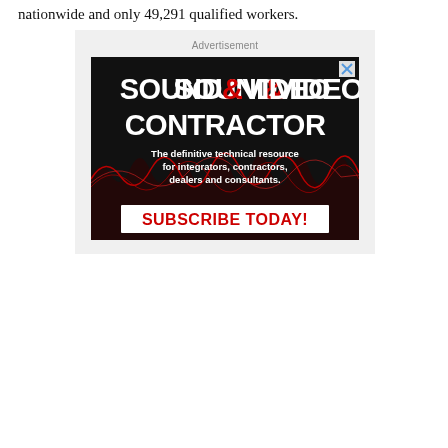nationwide and only 49,291 qualified workers.
[Figure (illustration): Advertisement banner for Sound & Video Contractor magazine. Black background with bold white text 'SOUND&VIDEO CONTRACTOR' where '&' is red. Tagline: 'The definitive technical resource for integrators, contractors, dealers and consultants.' Red waveform/lightning graphic across the middle. White rectangle with red bold text 'SUBSCRIBE TODAY!' at the bottom. Small X close button in top right corner.]